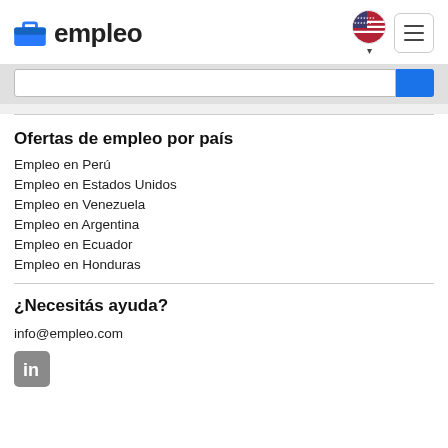empleo
Ofertas de empleo por país
Empleo en Perú
Empleo en Estados Unidos
Empleo en Venezuela
Empleo en Argentina
Empleo en Ecuador
Empleo en Honduras
¿Necesitás ayuda?
info@empleo.com
[Figure (logo): LinkedIn icon button]